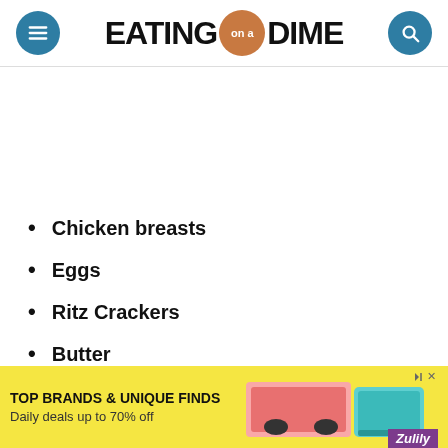EATING on a DIME
Chicken breasts
Eggs
Ritz Crackers
Butter
Garlic Salt
Pe[pper] (partially obscured)
[Figure (other): Advertisement banner: TOP BRANDS & UNIQUE FINDS, Daily deals up to 70% off, Zulily brand with images of shoes and handbag]